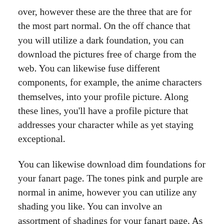over, however these are the three that are for the most part normal. On the off chance that you will utilize a dark foundation, you can download the pictures free of charge from the web. You can likewise fuse different components, for example, the anime characters themselves, into your profile picture. Along these lines, you'll have a profile picture that addresses your character while as yet staying exceptional.
You can likewise download dim foundations for your fanart page. The tones pink and purple are normal in anime, however you can utilize any shading you like. You can involve an assortment of shadings for your fanart page. As well as utilizing these shadings, you should wear a hoodie or weighty coat. You can likewise utilize a dark shirt to make an attractive and